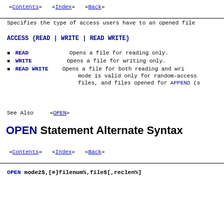«Contents»   «Index»   «Back»
Specifies the type of access users have to an opened file
ACCESS {READ | WRITE | READ WRITE}
READ     Opens a file for reading only.
WRITE     Opens a file for writing only.
READ WRITE     Opens a file for both reading and writing. This mode is valid only for random-access files, and files opened for APPEND (s
See Also     «OPEN»
OPEN Statement Alternate Syntax
«Contents»   «Index»   «Back»
OPEN mode2$,[#]filenum%,file$[,reclen%]